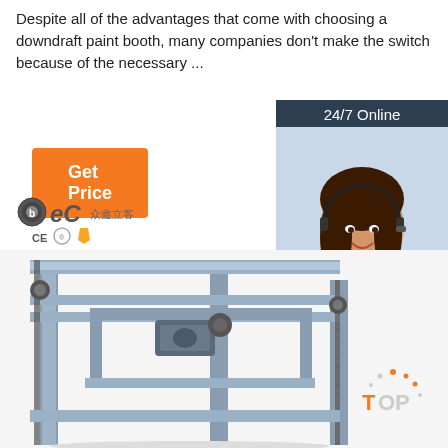Despite all of the advantages that come with choosing a downdraft paint booth, many companies don't make the switch because of the necessary ...
[Figure (other): Orange 'Get Price' button]
[Figure (other): 24/7 Online chat panel with agent photo, 'Click here for free chat!' text, and orange QUOTATION button]
[Figure (logo): BEC company logo with CE, certification and gold shield icons]
[Figure (photo): Industrial conveyor/lifting machine with steel frame, chains, and motor]
[Figure (other): Orange and grey TOP badge in lower right corner]